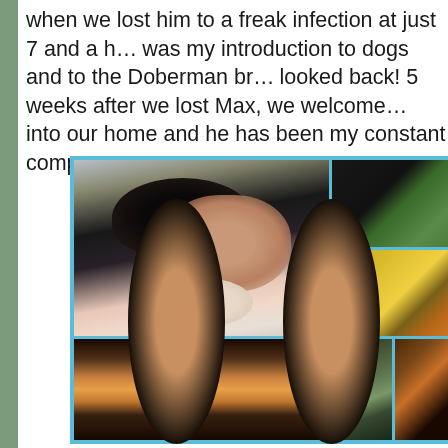when we lost him to a freak infection at just 7 and a half. He was my introduction to dogs and to the Doberman breed and never looked back! 5 weeks after we lost Max, we welcomed our new puppy into our home and he has been my constant companion...
[Figure (photo): Photo collage with cyan/teal border containing multiple photos: main large photo of an Asian woman with black hair holding a black Doberman puppy and a baby; top right photo of a person in dark clothing outdoors on grass; middle right photo with colorful clothing; bottom row showing close-up of Doberman face/eyes, outdoor garden scene, and partial dog face close-up]